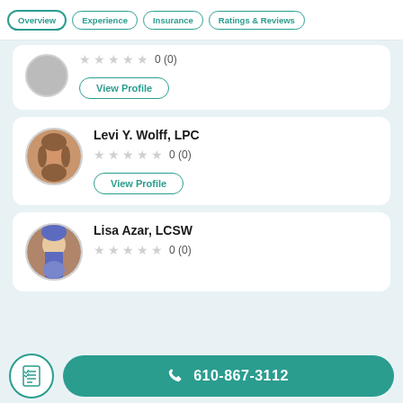Overview | Experience | Insurance | Ratings & Reviews
0 (0)
View Profile
Levi Y. Wolff, LPC — 0 (0) — View Profile
Lisa Azar, LCSW — 0 (0)
610-867-3112